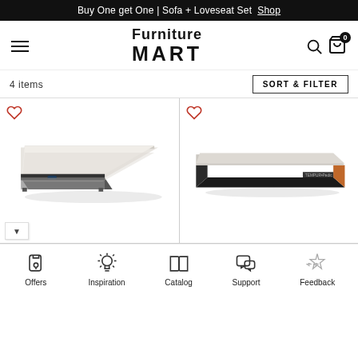Buy One get One | Sofa + Loveseat Set  Shop
[Figure (logo): Furniture Mart logo with hamburger menu, search icon, and cart icon with badge 0]
4 items
SORT & FILTER
[Figure (photo): White and grey pillow-top mattress shown at an angle on white background, with heart/favorite icon]
[Figure (photo): Tempur-Pedic style dark grey/black low-profile mattress shown at an angle, with heart/favorite icon]
[Figure (infographic): Bottom navigation bar with icons: Offers (tag icon), Inspiration (lightbulb icon), Catalog (book icon), Support (chat bubble icon), Feedback (stars icon)]